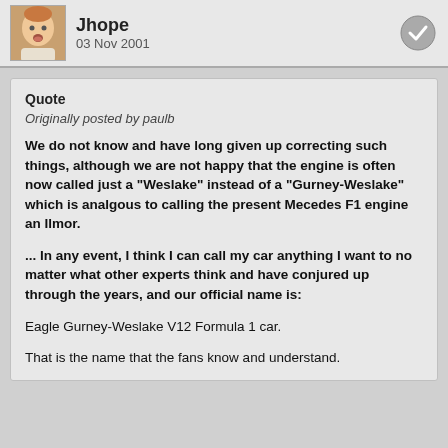Jhope
03 Nov 2001
Quote
Originally posted by paulb

We do not know and have long given up correcting such things, although we are not happy that the engine is often now called just a "Weslake" instead of a "Gurney-Weslake" which is analgous to calling the present Mecedes F1 engine an Ilmor.

... In any event, I think I can call my car anything I want to no matter what other experts think and have conjured up through the years, and our official name is:

Eagle Gurney-Weslake V12 Formula 1 car.

That is the name that the fans know and understand.